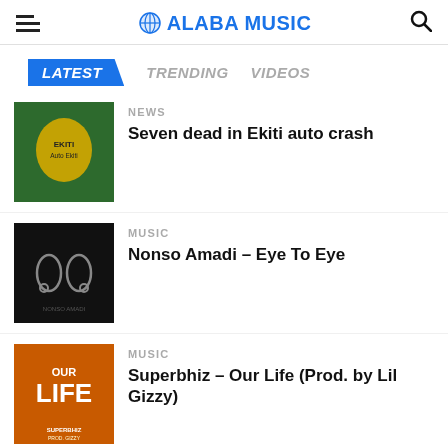ALABA MUSIC
LATEST  TRENDING  VIDEOS
NEWS
Seven dead in Ekiti auto crash
MUSIC
Nonso Amadi – Eye To Eye
MUSIC
Superbhiz – Our Life (Prod. by Lil Gizzy)
NEWS
Collapsed reservoir: Father demands justice for Lagos victims